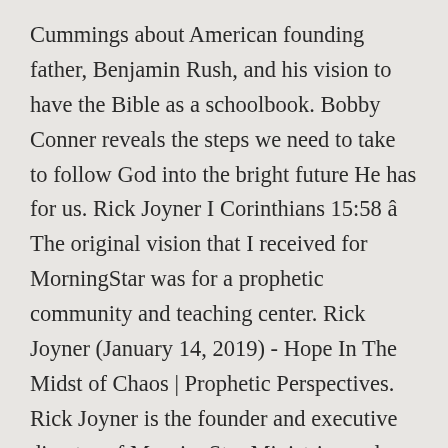Cummings about American founding father, Benjamin Rush, and his vision to have the Bible as a schoolbook. Bobby Conner reveals the steps we need to take to follow God into the bright future He has for us. Rick Joyner I Corinthians 15:58 â The original vision that I received for MorningStar was for a prophetic community and teaching center. Rick Joyner (January 14, 2019) - Hope In The Midst of Chaos | Prophetic Perspectives. Rick Joyner is the founder and executive director of MorningStar Ministries and Heritage International Ministries and is the Senior Pastor of MorningStar Fellowship Church. He also saw that a ârevolution/civil warâ was coming. It's